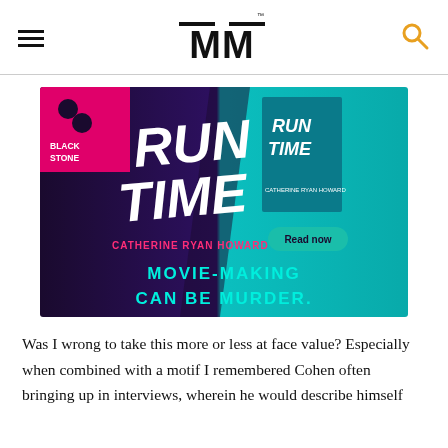MM (logo header with hamburger menu and search icon)
[Figure (photo): Advertisement banner for 'Run Time' by Catherine Ryan Howard, published by Blackstone. Dark background with 'RUN TIME' in large white brush-script text, 'CATHERINE RYAN HOWARD' in pink text, a book cover image on the right, a 'Read now' button, and tagline 'MOVIE-MAKING CAN BE MURDER.' in teal text at bottom.]
Was I wrong to take this more or less at face value? Especially when combined with a motif I remembered Cohen often bringing up in interviews, wherein he would describe himself